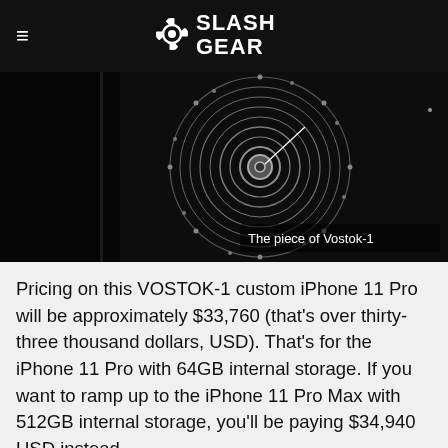SlashGear
[Figure (photo): Close-up render of a custom mechanical watch movement embedded in a smartphone, labeled 'The piece of Vostok-1', dark background with concentric circular engravings]
Pricing on this VOSTOK-1 custom iPhone 11 Pro will be approximately $33,760 (that's over thirty-three thousand dollars, USD). That's for the iPhone 11 Pro with 64GB internal storage. If you want to ramp up to the iPhone 11 Pro Max with 512GB internal storage, you'll be paying $34,940 USD instead.
[Figure (other): BitLife advertisement banner with 'FAIL' text and 'START A NEW LIFE' tagline on dark background with fire animation]